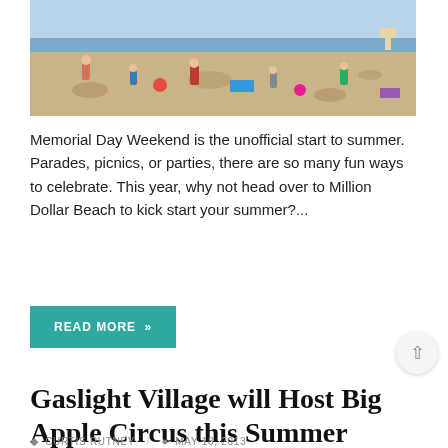[Figure (photo): Beach scene with many people sunbathing and swimming on a sandy beach with water in the background]
Memorial Day Weekend is the unofficial start to summer. Parades, picnics, or parties, there are so many fun ways to celebrate. This year, why not head over to Million Dollar Beach to kick start your summer?...
READ MORE »
Gaslight Village will Host Big Apple Circus this Summer
CURTIS RUTNEY / MAY 18, 2013